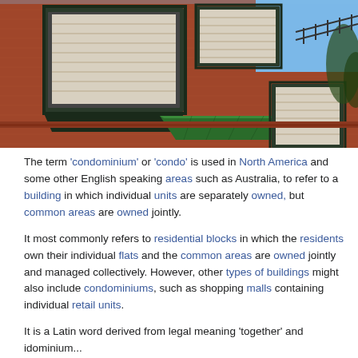[Figure (photo): Exterior photograph of a red brick condominium building with bay windows, green awnings, and louvered shutters against a blue sky.]
The term 'condominium' or 'condo' is used in North America and some other English speaking areas such as Australia, to refer to a building in which individual units are separately owned, but common areas are owned jointly.
It most commonly refers to residential blocks in which the residents own their individual flats and the common areas are owned jointly and managed collectively. However, other types of buildings might also include condominiums, such as shopping malls containing individual retail units.
It is a Latin word derived from legal meaning 'together' and idominium...